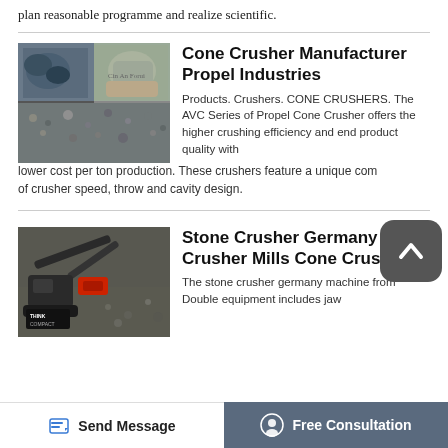plan reasonable programme and realize scientific.
[Figure (photo): Three images of crushed stone/rocks and gravel with FORUI branding overlay]
Cone Crusher Manufacturer Propel Industries
Products. Crushers. CONE CRUSHERS. The AVC Series of Propel Cone Crusher offers the higher crushing efficiency and end product quality with lower cost per ton production. These crushers feature a unique combination of crusher speed, throw and cavity design.
[Figure (photo): Stone crusher / excavator machine with Think Compact branding on a gravel site]
Stone Crusher Germany Crusher Mills Cone Crusher
The stone crusher germany machine from Double equipment includes jaw
Send Message
Free Consultation